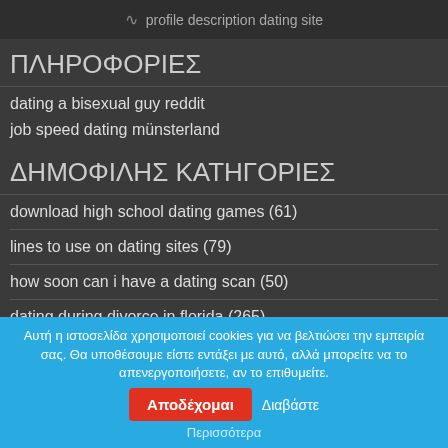profile description dating site
ΠΛΗΡΟΦΟΡΙΕΣ
dating a bisexual guy reddit
job speed dating münsterland
ΔΗΜΟΦΙΛΗΣ ΚΑΤΗΓΟΡΙΕΣ
download high school dating games (61)
lines to use on dating sites (79)
how soon can i have a dating scan (50)
dating during divorce in florida (265)
Αυτή η ιστοσελίδα χρησιμοποιεί cookies για να βελτιώσει την εμπειρία σας. Θα υποθέσουμε είστε εντάξει με αυτό, αλλά μπορείτε να το απενεργοποιήσετε, αν το επιθυμείτε. Αποδέχομαι Διαβάστε Περισσότερα